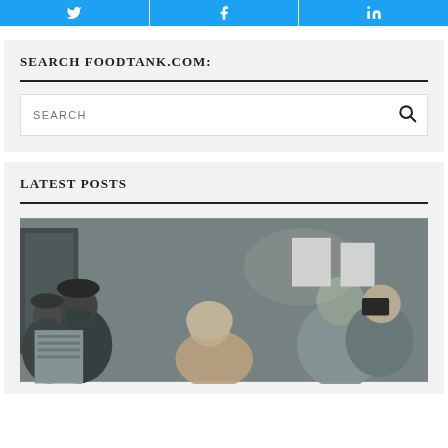[Figure (other): Social share buttons for Twitter, Facebook, and LinkedIn in blue]
SEARCH FOODTANK.COM:
[Figure (screenshot): Search input box with placeholder text SEARCH and a magnifying glass icon]
LATEST POSTS
[Figure (photo): Crowd of people wearing face masks gathered indoors, photographed in muted tones]